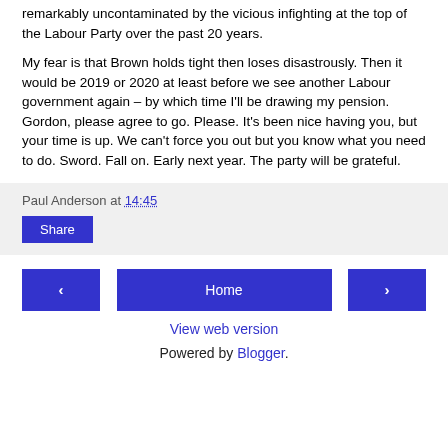remarkably uncontaminated by the vicious infighting at the top of the Labour Party over the past 20 years.
My fear is that Brown holds tight then loses disastrously. Then it would be 2019 or 2020 at least before we see another Labour government again – by which time I'll be drawing my pension. Gordon, please agree to go. Please. It's been nice having you, but your time is up. We can't force you out but you know what you need to do. Sword. Fall on. Early next year. The party will be grateful.
Paul Anderson at 14:45
Share
Home
View web version
Powered by Blogger.